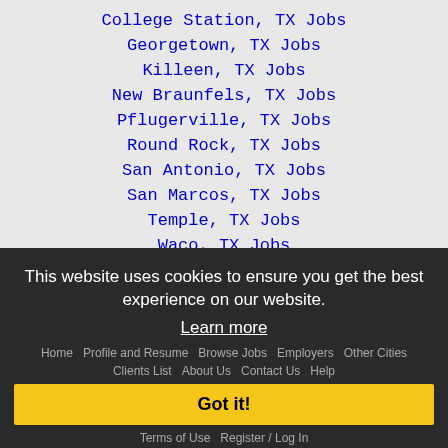College Station, TX Jobs
Georgetown, TX Jobs
Killeen, TX Jobs
New Braunfels, TX Jobs
Pflugerville, TX Jobs
Round Rock, TX Jobs
San Antonio, TX Jobs
San Marcos, TX Jobs
Temple, TX Jobs
Waco, TX Jobs
This website uses cookies to ensure you get the best experience on our website.
Learn more
Got it!
Home   Profile and Resume   Browse Jobs   Employers   Other Cities   Clients List   About Us   Contact Us   Help   Terms of Use   Register / Log In
Copyright © 2001 - 2022 Recruiter Media Corporation -
Austin Jobs